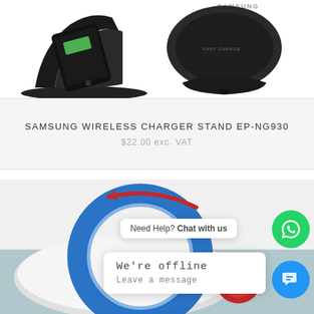[Figure (photo): Two Samsung wireless charger stands shown side by side on white background. Left stand has a phone on it showing green battery icon. Right stand is empty, showing Samsung branding.]
SAMSUNG WIRELESS CHARGER STAND EP-NG930
$22.00 exc. VAT
[Figure (photo): Partial product image showing blue and red circular wireless charger ring with red arrow. Overlaid with chat widgets: 'Need Help? Chat with us' bubble, 'We're offline / Leave a message' popup, WhatsApp green circle button, and blue chat circle button.]
Need Help? Chat with us
We're offline
Leave a message